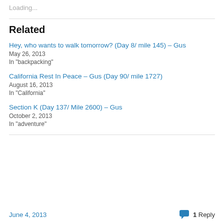Loading...
Related
Hey, who wants to walk tomorrow? (Day 8/ mile 145) – Gus
May 26, 2013
In "backpacking"
California Rest In Peace – Gus (Day 90/ mile 1727)
August 16, 2013
In "California"
Section K (Day 137/ Mile 2600) – Gus
October 2, 2013
In "adventure"
June 4, 2013   1 Reply